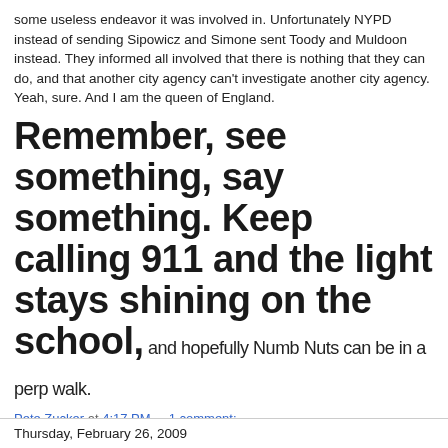some useless endeavor it was involved in. Unfortunately NYPD instead of sending Sipowicz and Simone sent Toody and Muldoon instead. They informed all involved that there is nothing that they can do, and that another city agency can't investigate another city agency. Yeah, sure. And I am the queen of England.
Remember, see something, say something. Keep calling 911 and the light stays shining on the school, and hopefully Numb Nuts can be in a perp walk.
Pete Zucker at 4:17 PM   1 comment:
Share
Thursday, February 26, 2009